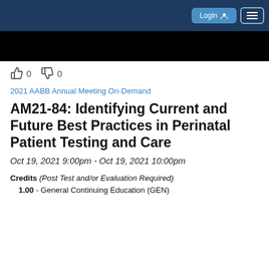[Figure (screenshot): Website navigation bar with dark blue background, Login button, and hamburger menu icon]
[Figure (photo): Black banner image below navigation bar]
👍 0  👎 0
2021 AABB Annual Meeting On-Demand
AM21-84: Identifying Current and Future Best Practices in Perinatal Patient Testing and Care
Oct 19, 2021 9:00pm - Oct 19, 2021 10:00pm
Credits (Post Test and/or Evaluation Required)
    1.00 - General Continuing Education (GEN)